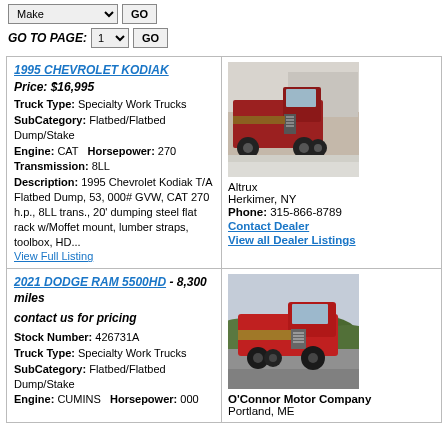Make [dropdown] GO
GO TO PAGE: 1 [dropdown] GO
1995 CHEVROLET KODIAK
Price: $16,995
Truck Type: Specialty Work Trucks
SubCategory: Flatbed/Flatbed Dump/Stake
Engine: CAT   Horsepower: 270
Transmission: 8LL
Description: 1995 Chevrolet Kodiak T/A Flatbed Dump, 53, 000# GVW, CAT 270 h.p., 8LL trans., 20' dumping steel flat rack w/Moffet mount, lumber straps, toolbox, HD...
View Full Listing
[Figure (photo): Red 1995 Chevrolet Kodiak flatbed dump truck parked outdoors near a building in winter]
Altrux
Herkimer, NY
Phone: 315-866-8789
Contact Dealer
View all Dealer Listings
2021 DODGE RAM 5500HD - 8,300 miles
contact us for pricing
Stock Number: 426731A
Truck Type: Specialty Work Trucks
SubCategory: Flatbed/Flatbed Dump/Stake
Engine: CUMINS   Horsepower: 000
[Figure (photo): Red 2021 Dodge Ram 5500HD flatbed truck parked on pavement with green hills in background]
O'Connor Motor Company
Portland, ME